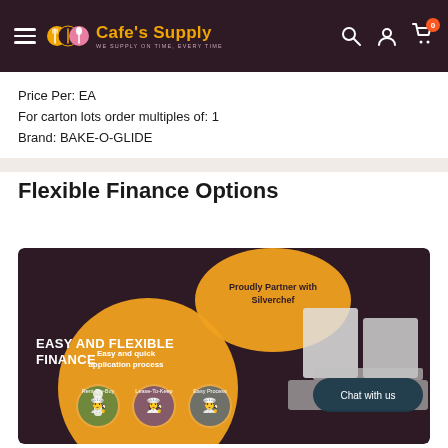Cafe's Supply - WE SUPPLY ON TIME, EVERY TIME
Price Per: EA
For carton lots order multiples of: 1
Brand: BAKE-O-GLIDE
Flexible Finance Options
[Figure (infographic): Easy and Flexible Finance infographic. Proudly Partner with Silverchef. Features orange circles with text: Easy and quick application process. Options shown: Rent-Try-Buy, Lease-To-Keep, Easy Process. Shows chefs and commercial kitchen equipment. Dark rounded button: Chat with us.]